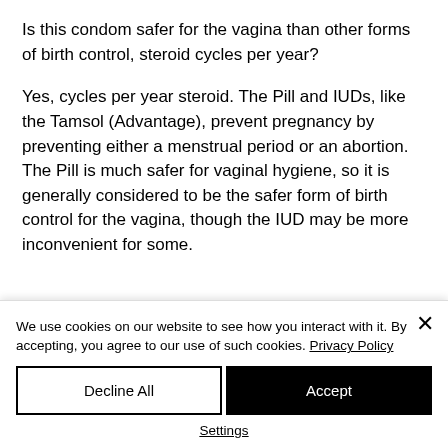Is this condom safer for the vagina than other forms of birth control, steroid cycles per year?
Yes, cycles per year steroid. The Pill and IUDs, like the Tamsol (Advantage), prevent pregnancy by preventing either a menstrual period or an abortion. The Pill is much safer for vaginal hygiene, so it is generally considered to be the safer form of birth control for the vagina, though the IUD may be more inconvenient for some.
We use cookies on our website to see how you interact with it. By accepting, you agree to our use of such cookies. Privacy Policy